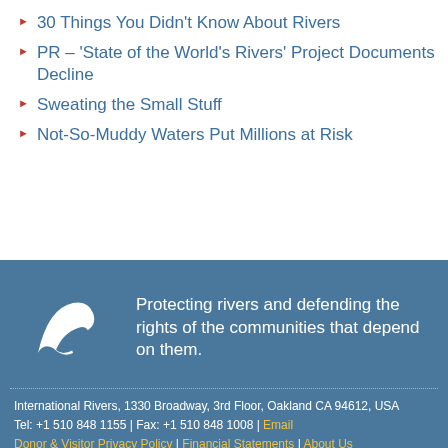30 Things You Didn't Know About Rivers
PR – 'State of the World's Rivers' Project Documents Decline
Sweating the Small Stuff
Not-So-Muddy Waters Put Millions at Risk
[Figure (logo): International Rivers logo — white river/wave shape on teal circle background]
Protecting rivers and defending the rights of the communities that depend on them.
International Rivers, 1330 Broadway, 3rd Floor, Oakland CA 94612, USA
Tel: +1 510 848 1155 | Fax: +1 510 848 1008 | Email
Donor & Visitor Privacy Policy | Financial Statements | About Us
Please direct all inquiries, comments, and error reports to our contact form.
International Rivers is licensed under Creative Commons
[Figure (logo): Creative Commons BY-NC-SA badge]